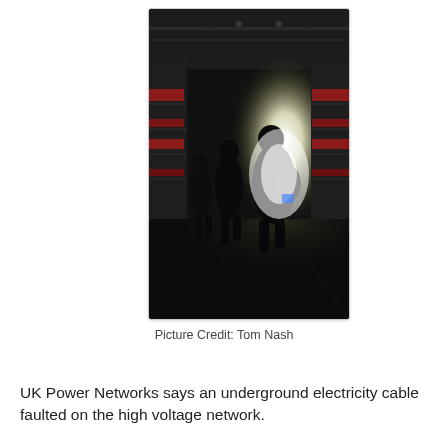[Figure (photo): Dark interior of a retail store during a power outage. Silhouettes of people are visible against a bright backlit entrance. Store shelves with red branding are visible on both sides. The ceiling is dark with some emergency or distant lighting. The floor is reflective and dark.]
Picture Credit: Tom Nash
UK Power Networks says an underground electricity cable faulted on the high voltage network.